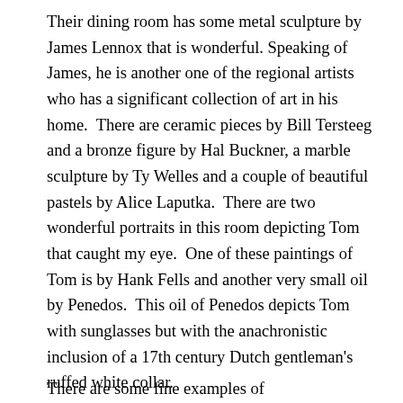Their dining room has some metal sculpture by James Lennox that is wonderful. Speaking of James, he is another one of the regional artists who has a significant collection of art in his home.  There are ceramic pieces by Bill Tersteeg  and a bronze figure by Hal Buckner, a marble sculpture by Ty Welles and a couple of beautiful pastels by Alice Laputka.  There are two wonderful portraits in this room depicting Tom that caught my eye.  One of these paintings of Tom is by Hank Fells and another very small oil by Penedos.  This oil of Penedos depicts Tom with sunglasses but with the anachronistic inclusion of a 17th century Dutch gentleman's ruffed white collar.
There are some fine examples of